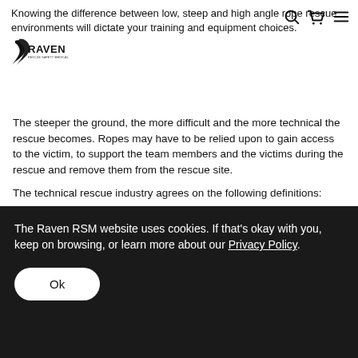Knowing the difference between low, steep and high angle rope rescue environments will dictate your training and equipment choices.
The steeper the ground, the more difficult and the more technical the rescue becomes. Ropes may have to be relied upon to gain access to the victim, to support the team members and the victims during the rescue and remove them from the rescue site.
The technical rescue industry agrees on the following definitions:
a 0-15 degree slope is flat terrain
15-29 degrees is considered low angle
30-50 degrees is steep angle
anything above 50 degrees is high angle
The Raven RSM website uses cookies. If that's okay with you, keep on browsing, or learn more about our Privacy Policy.